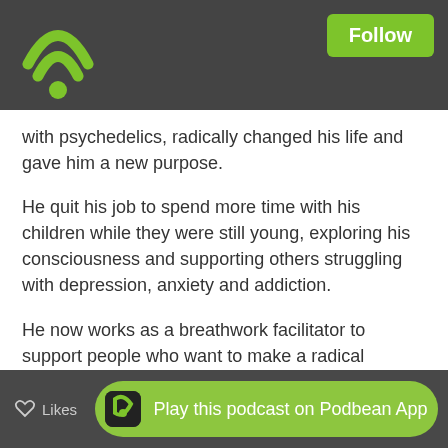Podbean app header with wifi icon and Follow button
with psychedelics, radically changed his life and gave him a new purpose.
He quit his job to spend more time with his children while they were still young, exploring his consciousness and supporting others struggling with depression, anxiety and addiction.
He now works as a breathwork facilitator to support people who want to make a radical change in their life, find more purpose and meaning and reclaim their power.
You can connect with Hans through Facebook or his webpage.
[Figure (logo): PodBean logo with signal arc and dots]
Play this podcast on Podbean App